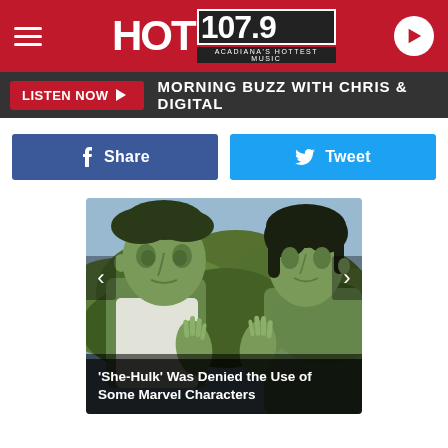[Figure (logo): HOT 107.9 radio station logo on red header bar with hamburger menu and play button]
LISTEN NOW ▶  MORNING BUZZ WITH CHRIS & DIGITAL
f  Share
🐦  Tweet
[Figure (photo): Two green-skinned Hulk characters (She-Hulk and Hulk) facing each other with hands touching, jungle background]
'She-Hulk' Was Denied the Use of Some Marvel Characters